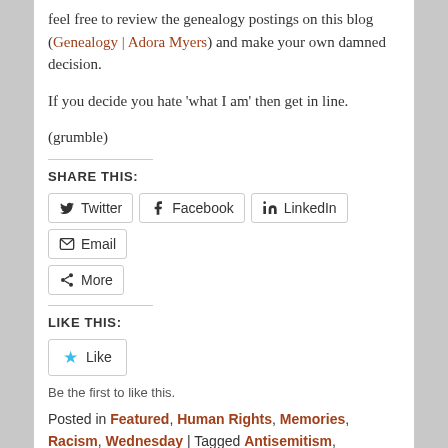feel free to review the genealogy postings on this blog (Genealogy | Adora Myers) and make your own damned decision.
If you decide you hate 'what I am' then get in line.
(grumble)
SHARE THIS:
Twitter
Facebook
LinkedIn
Email
More
LIKE THIS:
Like
Be the first to like this.
Posted in Featured, Human Rights, Memories, Racism, Wednesday | Tagged Antisemitism, Feminism, Genealogy, human rights, Indirect, Iowa, Midwest, Minnesota, Minnesota Nice, Overt, Racism, Wisconsin | 1 Reply